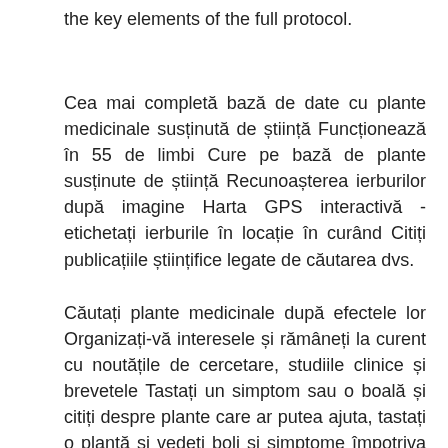the key elements of the full protocol.
Cea mai completă bază de date cu plante medicinale susținută de știință Funcționează în 55 de limbi Cure pe bază de plante susținute de știință Recunoașterea ierburilor după imagine Harta GPS interactivă - etichetați ierburile în locație în curând Citiți publicațiile științifice legate de căutarea dvs.
Căutați plante medicinale după efectele lor Organizați-vă interesele și rămâneți la curent cu noutățile de cercetare, studiile clinice și brevetele Tastați un simptom sau o boală și citiți despre plante care ar putea ajuta, tastați o plantă și vedeți boli și simptome împotriva cărora este